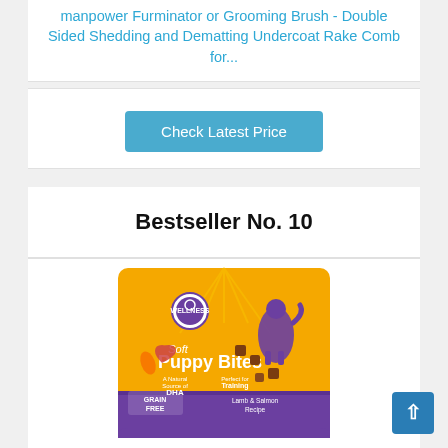Manpow Furminator or Grooming Brush - Double Sided Shedding and Dematting Undercoat Rake Comb for...
Check Latest Price
Bestseller No. 10
[Figure (photo): Wellness Soft Puppy Bites dog treats bag - yellow and purple packaging, Lamb & Salmon Recipe, Grain Free]